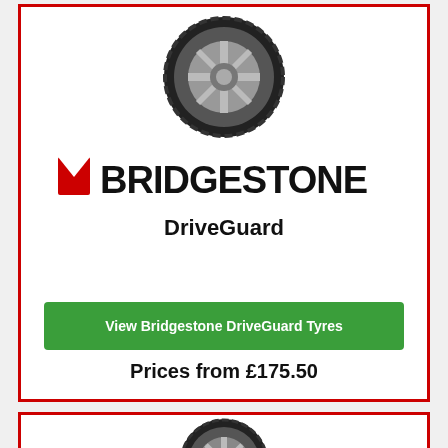[Figure (photo): Bridgestone DriveGuard tyre product photo - passenger car tyre with alloy wheel visible]
[Figure (logo): Bridgestone logo in black with red diagonal slash element]
DriveGuard
View Bridgestone DriveGuard Tyres
Prices from £175.50
[Figure (photo): Bridgestone tyre product photo - second product card, tyre with alloy wheel]